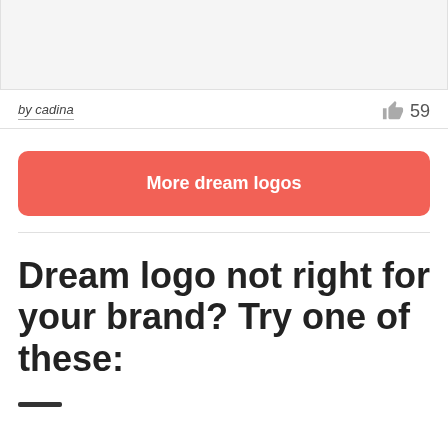[Figure (other): Top image area, light gray placeholder region]
by cadina
👍 59
More dream logos
Dream logo not right for your brand? Try one of these: